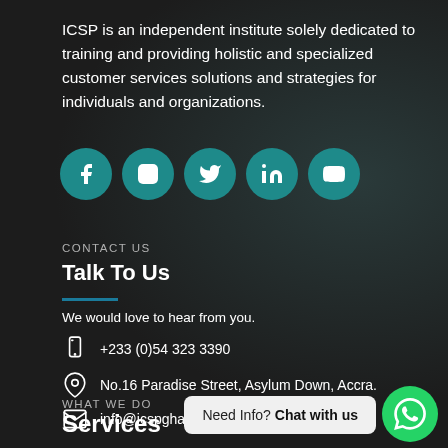ICSP is an independent institute solely dedicated to training and providing holistic and specialized customer services solutions and strategies for individuals and organizations.
[Figure (infographic): Five teal circular social media icons: Facebook, Instagram, Twitter, LinkedIn, YouTube]
CONTACT US
Talk To Us
We would love to hear from you.
+233 (0)54 323 3390
No.16 Paradise Street, Asylum Down, Accra.
info@icspghana.com
Need Info? Chat with us
WHAT WE DO
Services